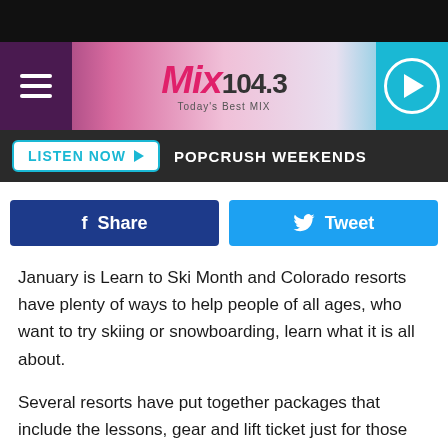[Figure (screenshot): Mix 104.3 radio station website header with hamburger menu, logo, and play button]
LISTEN NOW  POPCRUSH WEEKENDS
[Figure (other): Facebook Share button and Twitter Tweet button row]
January is Learn to Ski Month and Colorado resorts have plenty of ways to help people of all ages, who want to try skiing or snowboarding, learn what it is all about.
Several resorts have put together packages that include the lessons, gear and lift ticket just for those who want to try skiing or snowboarding.
Whether you've never been on the slopes, it has been so long